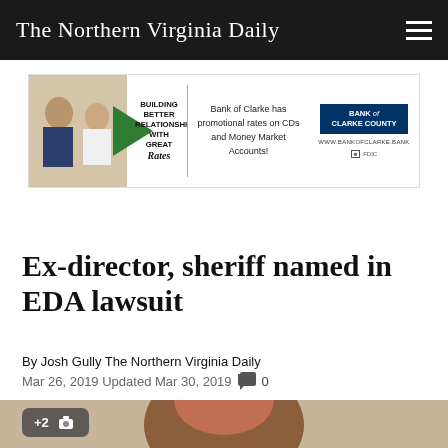The Northern Virginia Daily
[Figure (other): Bank of Clarke County advertisement banner: 'Building Better Relationships with Great Rates' — Bank of Clarke has promotional rates on CDs and Money Market Accounts!]
Ex-director, sheriff named in EDA lawsuit
By Josh Gully The Northern Virginia Daily
Mar 26, 2019 Updated Mar 30, 2019  0
[Figure (photo): Partial photo of a person, with +2 photo badge overlay indicating additional images]